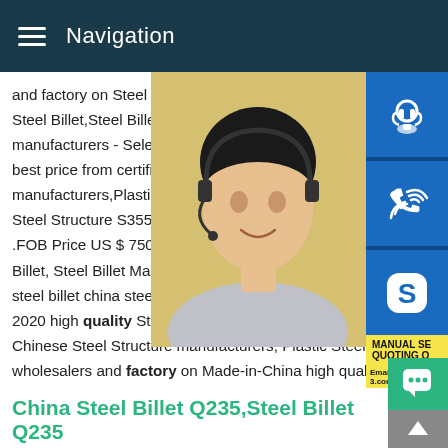Navigation
and factory on Steel Structure S355 Alloy Bar Price .FOB Price US $ 750-900 / Ton Min. Steel Billet,Steel Billet Manufacturers,Suppliers manufacturers - Select 2020 high quality Steel best price from certified Chinese Steel Structure manufacturers,Plastic Steel suppliers,wholesalers and Steel Structure S355 Alloy Billet Channels .FOB Price US $ 750-900 / Ton Min.Order: Billet, Steel Billet Manufacturers, Suppliers, steel billet china steel millChina Steel Billet 2020 high quality Steel Billet products in best price from certified Chinese Steel Structure manufacturers, Plastic Steel suppliers, wholesalers and factory on Made-in-China high quality low price steel billet china steel mill
[Figure (photo): Woman with headset, customer service representative]
[Figure (infographic): Contact icons: customer service headset, phone/call, Skype; Manual Service and Quoting text; Email: bsteel1@163.com]
China Steel Billet Q235,Steel Billet Q235